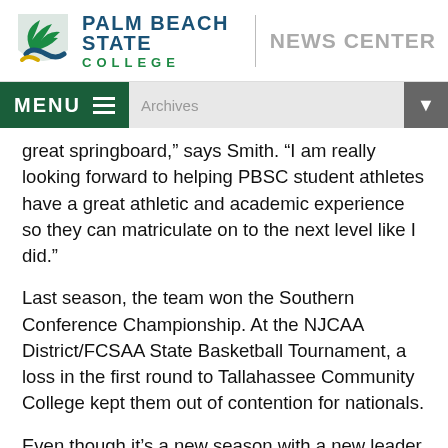Palm Beach State College | News Center
great springboard,” says Smith. “I am really looking forward to helping PBSC student athletes have a great athletic and academic experience so they can matriculate on to the next level like I did.”
Last season, the team won the Southern Conference Championship. At the NJCAA District/FCSAA State Basketball Tournament, a loss in the first round to Tallahassee Community College kept them out of contention for nationals.
Even though it’s a new season with a new leader at the helm, Smith says that people shouldn’t underestimate the team’s potential.